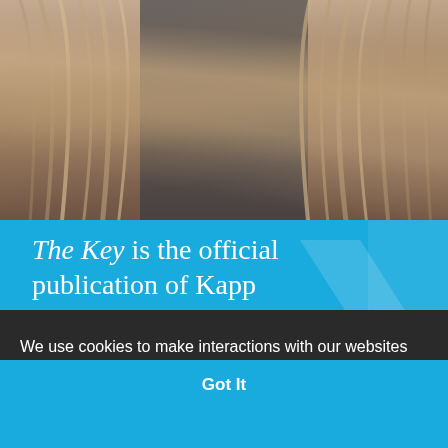[Figure (photo): Photo of two people with long blonde/brown hair, cropped to show hair and partial faces from above]
The Key is the official publication of Kappa
We use cookies to make interactions with our websites and services easy and meaningful. For more information see our Privacy Policy. By continuing to our website, you accept our cookies.  Privacy Policy
Got It